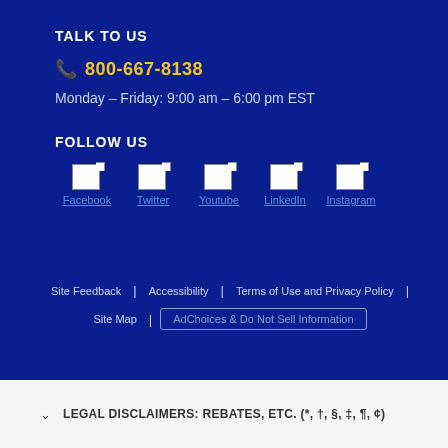TALK TO US
800-667-8138
Monday – Friday: 9:00 am – 6:00 pm EST
FOLLOW US
[Figure (other): Social media icons (broken images) for Facebook, Twitter, Youtube, LinkedIn, Instagram with link labels]
Site Feedback | Accessibility | Terms of Use and Privacy Policy | Site Map | AdChoices & Do Not Sell Information
LEGAL DISCLAIMERS: REBATES, ETC. (*, †, §, ‡, ¶, ¢)